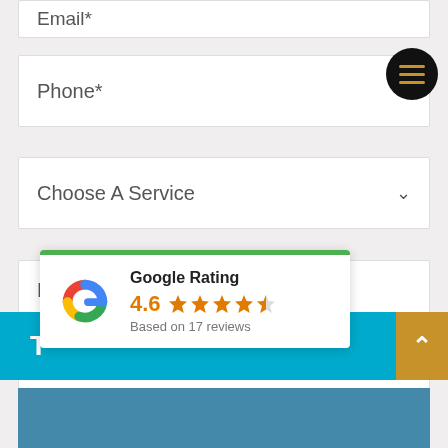Email*
[Figure (other): Hamburger menu button - dark circle with three horizontal orange lines]
Phone*
Choose A Service
Message
[Figure (infographic): Google Rating card with Google 'G' logo, rating 4.6, 4.6 stars out of 5 shown with star icons, based on 17 reviews]
Google Rating
4.6
Based on 17 reviews
[Figure (other): Scroll to top button - orange rectangle with upward chevron]
[Figure (photo): Bottom image strip - partial view of an image]